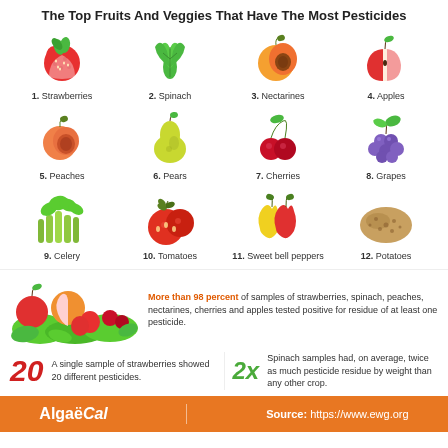The Top Fruits And Veggies That Have The Most Pesticides
[Figure (infographic): Grid of 12 fruits and vegetables with rankings: 1. Strawberries, 2. Spinach, 3. Nectarines, 4. Apples, 5. Peaches, 6. Pears, 7. Cherries, 8. Grapes, 9. Celery, 10. Tomatoes, 11. Sweet bell peppers, 12. Potatoes]
[Figure (illustration): Colorful illustration of mixed fruits and vegetables including apples, strawberries, cherries, and greens]
More than 98 percent of samples of strawberries, spinach, peaches, nectarines, cherries and apples tested positive for residue of at least one pesticide.
20 - A single sample of strawberries showed 20 different pesticides.
2x - Spinach samples had, on average, twice as much pesticide residue by weight than any other crop.
AlgaëCal   Source: https://www.ewg.org